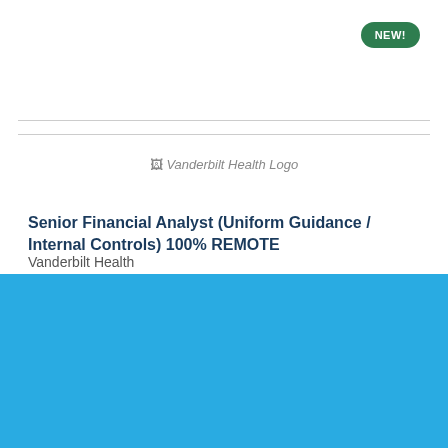[Figure (logo): Vanderbilt Health Logo]
Senior Financial Analyst (Uniform Guidance / Internal Controls) 100% REMOTE
Vanderbilt Health
Cookie Settings  Got it

We use cookies so that we can remember you and understand how you use our site. If you do not agree with our use of cookies, please change the current settings found in our Cookie Policy. Otherwise, you agree to the use of the cookies as they are currently set.